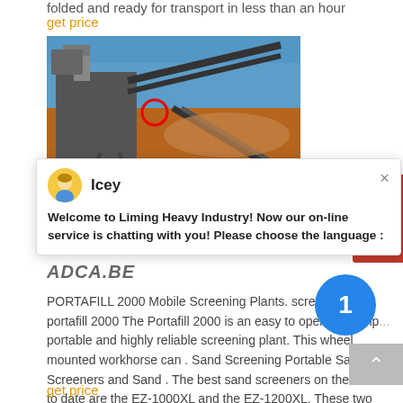folded and ready for transport in less than an hour
get price
[Figure (photo): Industrial mobile screening plant/conveyor machinery at an outdoor mining site with blue sky and red/orange earth in background.]
[Figure (screenshot): Chat popup from Liming Heavy Industry with avatar named Icey saying: Welcome to Liming Heavy Industry! Now our on-line service is chatting with you! Please choose the language:]
ADCA.BE
PORTAFILL 2000 Mobile Screening Plants. screening pla... portafill 2000 The Portafill 2000 is an easy to operate, comp... portable and highly reliable screening plant. This wheel mounted workhorse can . Sand Screening Portable Sand Screeners and Sand . The best sand screeners on the market to date are the EZ-1000XL and the EZ-1200XL. These two EZ-Screen sand
get price